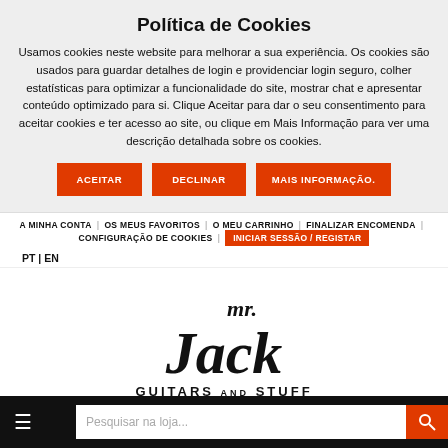Política de Cookies
Usamos cookies neste website para melhorar a sua experiência. Os cookies são usados para guardar detalhes de login e providenciar login seguro, colher estatísticas para optimizar a funcionalidade do site, mostrar chat e apresentar conteúdo optimizado para si. Clique Aceitar para dar o seu consentimento para aceitar cookies e ter acesso ao site, ou clique em Mais Informação para ver uma descrição detalhada sobre os cookies.
ACEITAR
DECLINAR
MAIS INFORMAÇÃO.
A MINHA CONTA | OS MEUS FAVORITOS | O MEU CARRINHO | FINALIZAR ENCOMENDA | CONFIGURAÇÃO DE COOKIES | INICIAR SESSÃO / REGISTAR
PT | EN
[Figure (logo): Mr. Jack Guitars and Stuff logo — Est. 2002, script lettering in black]
Pesquisar na loja...